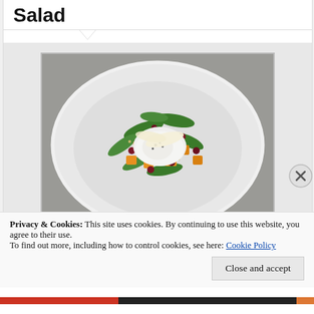Salad
[Figure (photo): A white bowl containing a salad with orange cubed squash, dark berries/pomegranate seeds, grain (millet or couscous), green arugula leaves, and a poached egg topped with a shaving of parmesan cheese, on a grey surface.]
Privacy & Cookies: This site uses cookies. By continuing to use this website, you agree to their use.
To find out more, including how to control cookies, see here: Cookie Policy
Close and accept